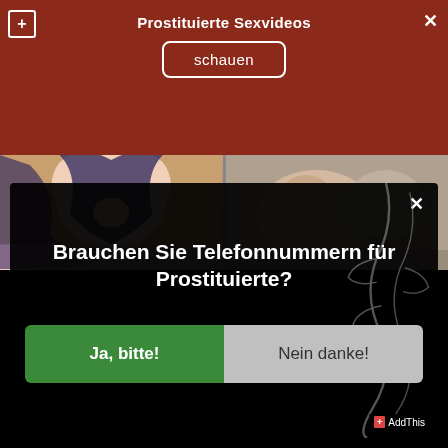Prostituierte Sexvideos
schauen
[Figure (screenshot): Two explicit adult content thumbnail images side by side]
[Figure (illustration): Dark modal overlay with decorative vine/branch artwork on right side]
Brauchen Sie Telefonnummern für Prostituierte?
Ja, bitte!
Nein danke!